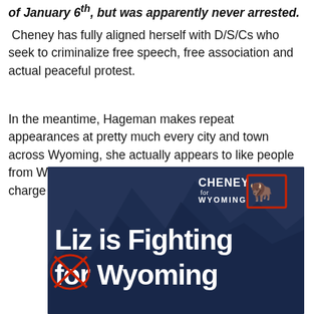of January 6th, but was apparently never arrested.
Cheney has fully aligned herself with D/S/Cs who seek to criminalize free speech, free association and actual peaceful protest.
In the meantime, Hageman makes repeat appearances at pretty much every city and town across Wyoming, she actually appears to like people from Wyoming—she lives there–and she doesn't charge admission.
[Figure (photo): Campaign image showing a Cheney for Wyoming logo with a red X through the word 'for', and text reading 'Liz is Fighting for Wyoming' over a mountain background.]